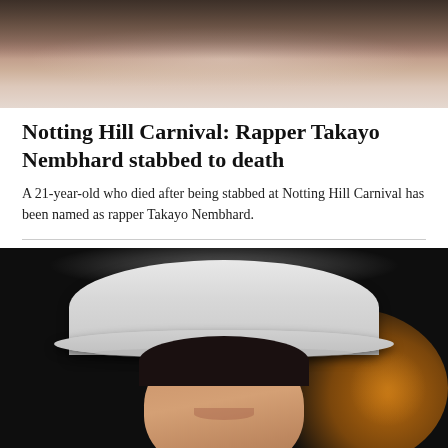[Figure (photo): Blurred photo of a person wearing dark clothing and a necklace, against a stone background]
Notting Hill Carnival: Rapper Takayo Nembhard stabbed to death
A 21-year-old who died after being stabbed at Notting Hill Carnival has been named as rapper Takayo Nembhard.
[Figure (photo): Photo of a woman wearing a large white wide-brimmed hat, smiling, against a dark background with orange bokeh lights]